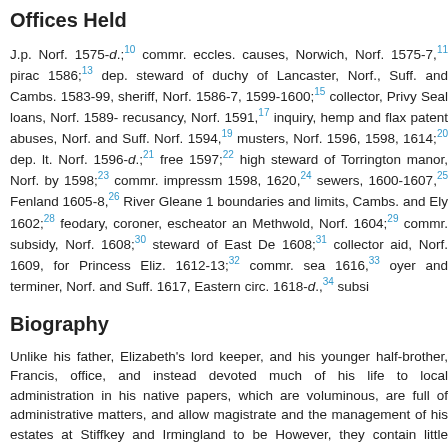Offices Held
J.p. Norf. 1575-d.;10 commr. eccles. causes, Norwich, Norf. 1575-7,11 piracy 1586;13 dep. steward of duchy of Lancaster, Norf., Suff. and Cambs. 1583-99, sheriff, Norf. 1586-7, 1599-1600;15 collector, Privy Seal loans, Norf. 1589- recusancy, Norf. 1591,17 inquiry, hemp and flax patent abuses, Norf. and Suff. Norf. 1594,19 musters, Norf. 1596, 1598, 1614;20 dep. lt. Norf. 1596-d.;21 free 1597;22 high steward of Torrington manor, Norf. by 1598;23 commr. impressm 1598, 1620,24 sewers, 1600-1607,25 Fenland 1605-8,26 River Gleane 1 boundaries and limits, Cambs. and Ely 1602;28 feodary, coroner, escheator an Methwold, Norf. 1604;29 commr. subsidy, Norf. 1608;30 steward of East De 1608;31 collector aid, Norf. 1609, for Princess Eliz. 1612-13;32 commr. sea 1616,33 oyer and terminer, Norf. and Suff. 1617, Eastern circ. 1618-d.,34 subsi
Biography
Unlike his father, Elizabeth's lord keeper, and his younger half-brother, Francis, office, and instead devoted much of his life to local administration in his native papers, which are voluminous, are full of administrative matters, and allow magistrate and the management of his estates at Stiffkey and Irmingland to be However, they contain little personal correspondence, and are largely silent so in six parliaments is concerned.36
Bacon and his four brothers all attended Cambridge and Gray's Inn, where the education in preparation for a life in office.37 This upbringing included entry 1571 Bacon's father arranged for him to represent the Devon borough of patronage of the 2nd earl of Bedford.38 Despite the wishes of his father, who